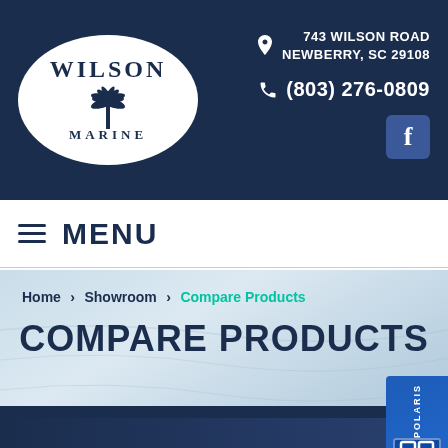[Figure (logo): Wilson Marine logo - white oval with palm tree and text WILSON MARINE on dark navy blue header background with contact info: 743 WILSON ROAD NEWBERRY, SC 29108, (803) 276-0809, and Facebook icon]
743 WILSON ROAD NEWBERRY, SC 29108 (803) 276-0809
MENU
Home › Showroom › Compare Products
COMPARE PRODUCTS